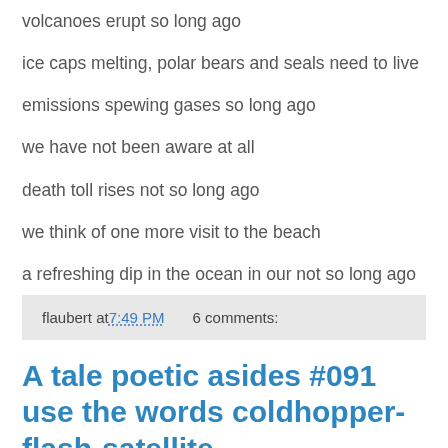volcanoes erupt so long ago
ice caps melting, polar bears and seals need to live
emissions spewing gases so long ago
we have not been aware at all
death toll rises not so long ago
we think of one more visit to the beach
a refreshing dip in the ocean in our not so long ago
flaubert at 7:49 PM   6 comments:
A tale poetic asides #091 use the words coldhopper-flash-satellite
The clodhopper stood on the river's edge